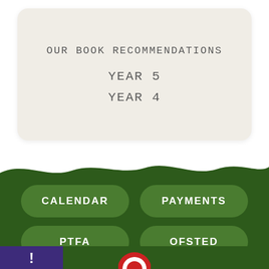OUR BOOK RECOMMENDATIONS
YEAR 5
YEAR 4
[Figure (screenshot): School app navigation interface with dark green background showing four navigation buttons: CALENDAR, PAYMENTS, PTFA, OFSTED arranged in a 2x2 grid. A purple notification panel is visible bottom left and a red/white circular icon at the bottom center.]